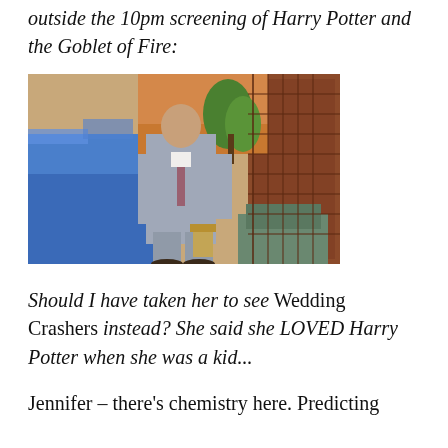outside the 10pm screening of Harry Potter and the Goblet of Fire:
[Figure (photo): A man in a grey suit with a tie standing in an outdoor venue with blue-lit pool and decorative plants in the background]
Should I have taken her to see Wedding Crashers instead? She said she LOVED Harry Potter when she was a kid...
Jennifer – there's chemistry here. Predicting